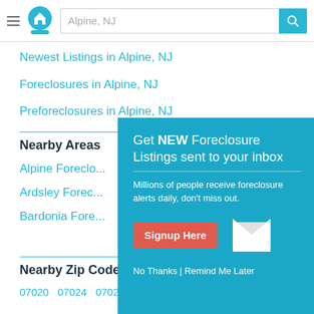Alpine, NJ
Newest Listings in Alpine, NJ
Foreclosures in Alpine, NJ
Preforeclosures in Alpine, NJ
Nearby Areas
Alpine Foreclо...
Ardsley Forec...
Bardonia Fore...
[Figure (infographic): Popup overlay on teal/blue background: 'Get NEW Foreclosure Listings sent to your inbox'. Subtext: 'Millions of people receive foreclosure alerts daily, don't miss out.' Red 'Signup Here' button. White envelope icon. Footer links: 'No Thanks | Remind Me Later']
Nearby Zip Codes
07020  07024  07026  07072  07073  07074